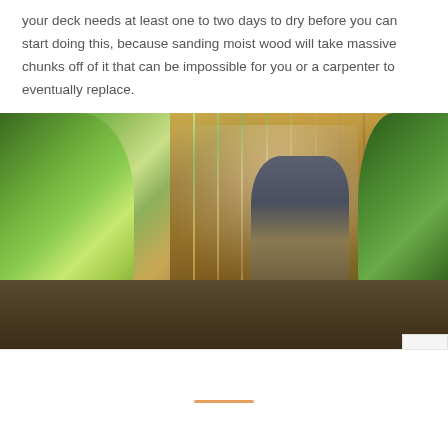your deck needs at least one to two days to dry before you can start doing this, because sanding moist wood will take massive chunks off of it that can be impossible for you or a carpenter to eventually replace.
[Figure (photo): A bearded man in a grey long-sleeve shirt and khaki pants using a yellow pressure washer to clean a wooden fence/deck, surrounded by green conifer trees on both sides. The scene is outdoors with mist from the water spray visible.]